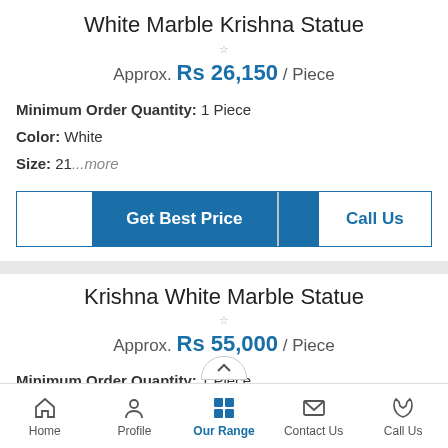White Marble Krishna Statue
Approx. Rs 26,150 / Piece
Minimum Order Quantity: 1 Piece
Color: White
Size: 21...more
[Figure (other): Two buttons: Get Best Price (blue) and Call Us (blue/white split)]
Krishna White Marble Statue
Approx. Rs 55,000 / Piece
Minimum Order Quantity: 1 Piece
Color: White
Home | Profile | Our Range | Contact Us | Call Us